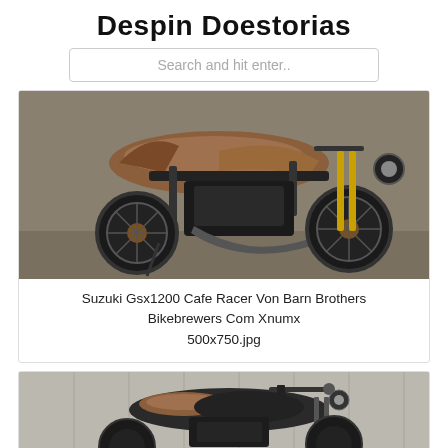Despin Doestorias
[Figure (other): Search bar with placeholder text 'Search and hit enter..']
[Figure (photo): Photo of a Suzuki GSX1200 Cafe Racer motorcycle with copper/bronze tank and black frame, side view on pavement]
Suzuki Gsx1200 Cafe Racer Von Barn Brothers Bikebrewers Com Xnumx
500x750.jpg
[Figure (photo): Photo of a dark/matte black motorcycle with brown seat against a light wood-panel background, partial view]